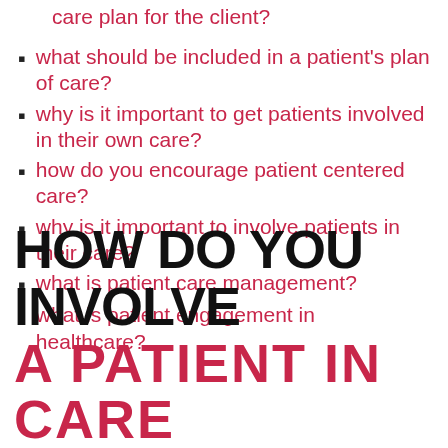care plan for the client?
what should be included in a patient's plan of care?
why is it important to get patients involved in their own care?
how do you encourage patient centered care?
why is it important to involve patients in their care?
what is patient care management?
what is patient engagement in healthcare?
HOW DO YOU INVOLVE